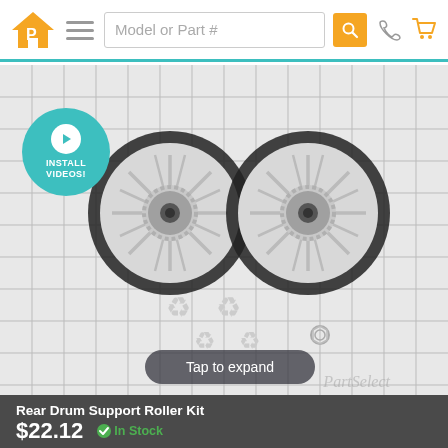Model or Part #
[Figure (photo): Two rear drum support rollers (wheels with rubber tires and metal hubs) placed on a white grid background, along with a small nut/washer. The PartSelect logo is visible as a watermark. A teal 'INSTALL VIDEOS!' badge with a play button is in the top left. A 'Tap to expand' pill button is overlaid at the bottom.]
Rear Drum Support Roller Kit
$22.12
In Stock